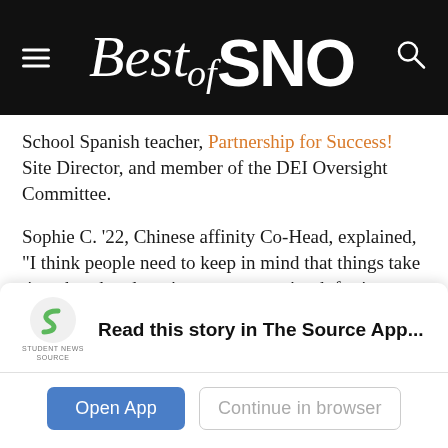[Figure (logo): Best of SNO logo — white script 'Best of' with bold white 'SNO' text on black background, hamburger menu icon on left, search icon on right]
School Spanish teacher, Partnership for Success! Site Director, and member of the DEI Oversight Committee.
Sophie C. ’22, Chinese affinity Co-Head, explained, “I think people need to keep in mind that things take time, but that doesn’t mean you can’t ask for it to happen faster and you can’t ask what’s happening in terms of ‘I gave you this feedback, what’s happening with it now?’”
The other part of the issue is student engagement. During
[Figure (logo): Student News Source logo — green S-shaped icon with 'STUDENT NEWS SOURCE' text below]
Read this story in The Source App...
Open App
Continue in browser